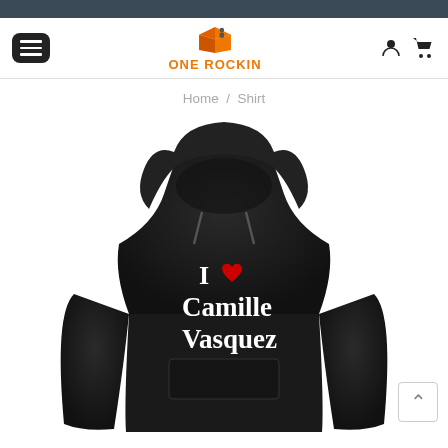ONE ROCKIN — website header with menu button, logo, user and cart icons
Home / Shirt
[Figure (photo): Black hoodie sweatshirt with white text reading 'I ❤ Camille Vasquez' printed on the front, red heart graphic, white bold serif text for 'Camille Vasquez']